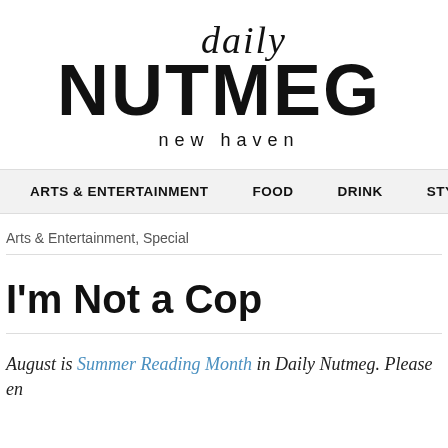[Figure (logo): Daily Nutmeg New Haven logo — 'daily' in script font above large bold 'NUTMEG', with 'new haven' in spaced small caps below]
ARTS & ENTERTAINMENT   FOOD   DRINK   STYLE   BEA...
Arts & Entertainment, Special
I'm Not a Cop
August is Summer Reading Month in Daily Nutmeg. Please en...